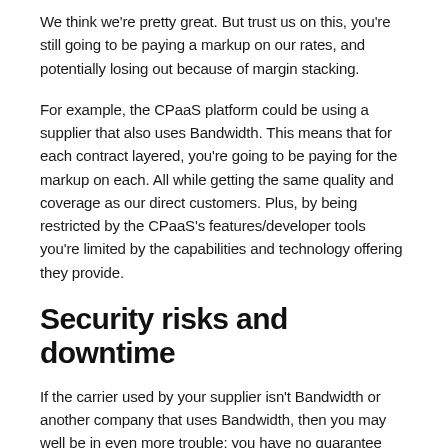We think we're pretty great. But trust us on this, you're still going to be paying a markup on our rates, and potentially losing out because of margin stacking.
For example, the CPaaS platform could be using a supplier that also uses Bandwidth. This means that for each contract layered, you're going to be paying for the markup on each. All while getting the same quality and coverage as our direct customers. Plus, by being restricted by the CPaaS's features/developer tools you're limited by the capabilities and technology offering they provide.
Security risks and downtime
If the carrier used by your supplier isn't Bandwidth or another company that uses Bandwidth, then you may well be in even more trouble: you have no guarantee that their choice of carrier is compliant or providing service over a fully resilient network.